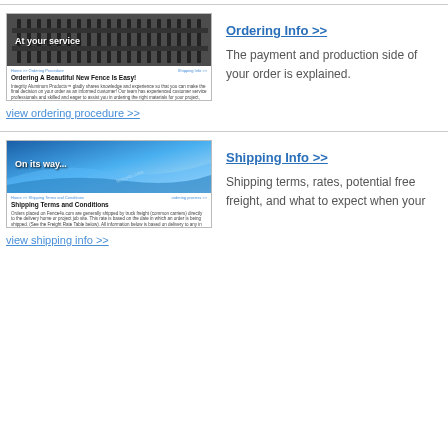[Figure (screenshot): Screenshot thumbnail of 'At your service' fence ordering page with fence photo and text about 'Ordering A Beautiful New Fence Is Easy!']
view ordering procedure >>
Ordering Info >>
The payment and production side of your order is explained.
[Figure (screenshot): Screenshot thumbnail of 'On its way...' shipping terms page with blue sky/wave photo and text about 'Shipping Terms and Conditions']
view shipping info >>
Shipping Info >>
Shipping terms, rates, potential free freight, and what to expect when your